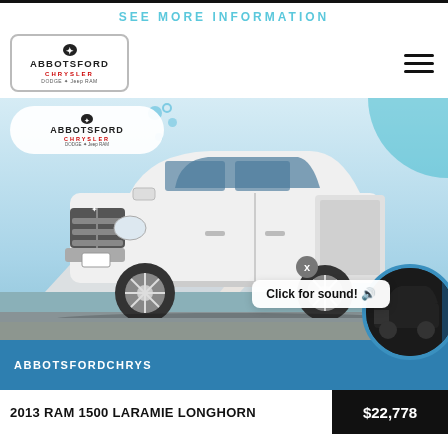SEE MORE INFORMATION
[Figure (photo): White 2013 Ram 1500 Laramie Longhorn pickup truck parked in front of mountains, with Abbotsford Chrysler dealer overlay logo and branding. Blue bottom bar shows 'ABBOTSFORDCHRYS...' text. A 'Click for sound!' popup and a circular thumbnail of a dark truck are visible.]
2013 RAM 1500 LARAMIE LONGHORN
$22,778